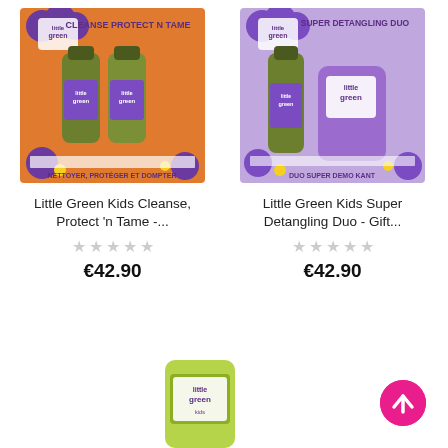[Figure (photo): Little Green Kids Cleanse, Protect 'n Tame gift set in orange packaging with two green bottles]
Little Green Kids Cleanse, Protect 'n Tame -...
★★★★★ (no ratings)
€42.90
[Figure (photo): Little Green Kids Super Detangling Duo gift set in lavender/purple packaging with green bottle and purple tube]
Little Green Kids Super Detangling Duo - Gift...
★★★★★ (no ratings)
€42.90
[Figure (photo): Little Green product in green packaging, partially visible at bottom]
[Figure (other): Pink circular back-to-top button with upward arrow]